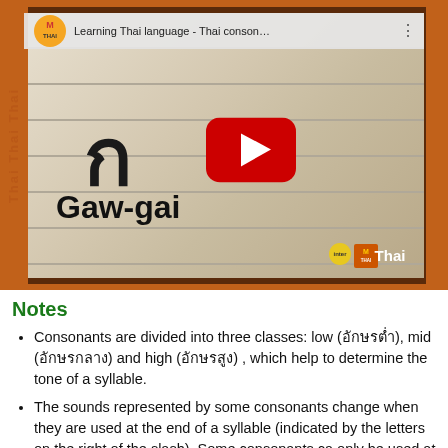[Figure (screenshot): YouTube video thumbnail for 'Learning Thai language - Thai conson...' showing a Thai consonant ก (Gaw-gai) written on lined paper with a YouTube play button overlay and interMThai branding]
Notes
Consonants are divided into three classes: low (อักษรต่ำ), mid (อักษรกลาง) and high (อักษรสูง) , which help to determine the tone of a syllable.
The sounds represented by some consonants change when they are used at the end of a syllable (indicated by the letters on the right of the slash). Some consonants can only be used at the beginning of a syllable.
Duplicate consonants represent different Sanskrit and Pali consonants sounds which are pronounced identically in Thai.